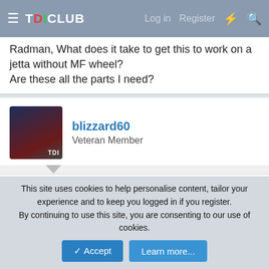TDICLUB — Log in  Register
Radman, What does it take to get this to work on a jetta without MF wheel?
Are these all the parts I need?
blizzard60
Veteran Member
Jan 20, 2011  #3
@silverbox: there's a really good thread on it. It is a lot of work and is different depending if you have a CAN-BUS car or not.

@radman: Is this the CAN enabled relay?

Cheers
This site uses cookies to help personalise content, tailor your experience and to keep you logged in if you register.
By continuing to use this site, you are consenting to our use of cookies.
[Accept]  [Learn more...]